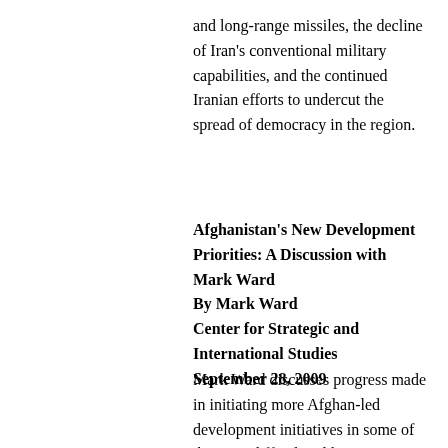and long-range missiles, the decline of Iran's conventional military capabilities, and the continued Iranian efforts to undercut the spread of democracy in the region.
Afghanistan's New Development Priorities: A Discussion with Mark Ward
By Mark Ward
Center for Strategic and International Studies
September 28, 2009
Mark Ward discusses progress made in initiating more Afghan-led development initiatives in some of the most difficult Taliban strong-holds in Afghanistan. Mark Ward is the Special Advisor on Development to the Special Representative of the Secretary General for the United Nations Assistance Mission in Afghanistan (UNAMA), based in Kabul. He is responsible for implementation of UNAMA's mandate to improve donor coordination and aid effectiveness in Afghanistan.